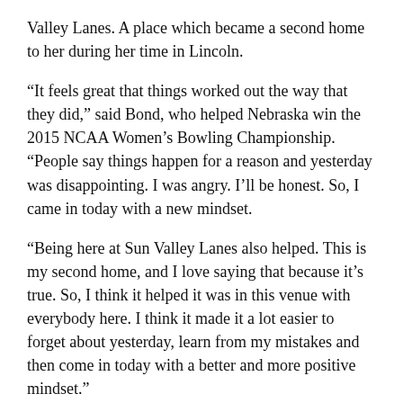Valley Lanes. A place which became a second home to her during her time in Lincoln.
“It feels great that things worked out the way that they did,” said Bond, who helped Nebraska win the 2015 NCAA Women’s Bowling Championship. “People say things happen for a reason and yesterday was disappointing. I was angry. I’ll be honest. So, I came in today with a new mindset.
“Being here at Sun Valley Lanes also helped. This is my second home, and I love saying that because it’s true. So, I think it helped it was in this venue with everybody here. I think it made it a lot easier to forget about yesterday, learn from my mistakes and then come in today with a better and more positive mindset.”
The Lincoln Regional featured a total of 40 players, with the top four qualifiers advancing to the stepladder finals.
In the semifinal match, Czuprynski defeated Jacqueline Evans of Acton, Massachusetts, 194-190. Czuprynski needed to fill 17 pins in the final frame to advance to the title match.
Czuprynski earned a victory over Justyne Falbo of New Stanton, Pennsylvania, 227-164 in the opening match.